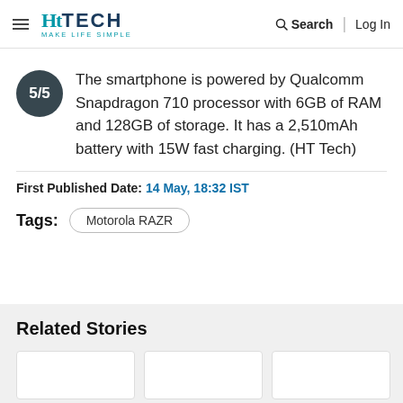HT TECH — MAKE LIFE SIMPLE | Search | Log In
5/5 — The smartphone is powered by Qualcomm Snapdragon 710 processor with 6GB of RAM and 128GB of storage. It has a 2,510mAh battery with 15W fast charging. (HT Tech)
First Published Date: 14 May, 18:32 IST
Tags: Motorola RAZR
Related Stories